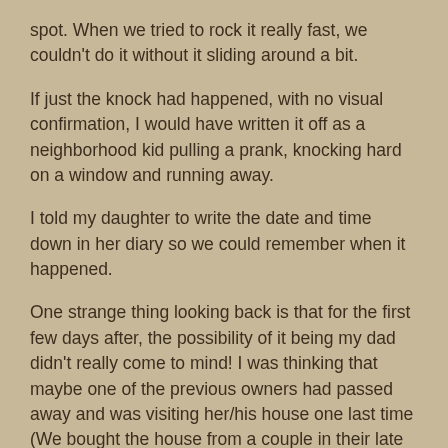spot. When we tried to rock it really fast, we couldn't do it without it sliding around a bit.
If just the knock had happened, with no visual confirmation, I would have written it off as a neighborhood kid pulling a prank, knocking hard on a window and running away.
I told my daughter to write the date and time down in her diary so we could remember when it happened.
One strange thing looking back is that for the first few days after, the possibility of it being my dad didn't really come to mind! I was thinking that maybe one of the previous owners had passed away and was visiting her/his house one last time (We bought the house from a couple in their late 80s). Or it could have been a friend of mine in his 70s who is currently in prison. I checked both of these possibilities and no, all were still living.
I suppose that the unsure part of me really needed to be shown for sure because after this I found myself looking every day at a photo of my dad and myself that my wife had put on my dresser shortly after he passed. I started talking to him. I felt kind of silly sometimes, but I would ask him every day to give me a definite sign if the things that had happened were done by him. Maybe he